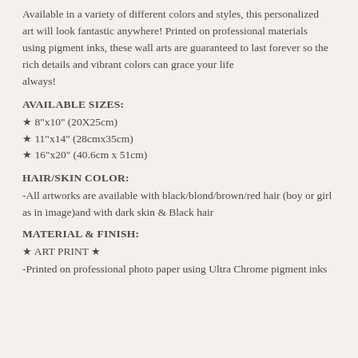Available in a variety of different colors and styles, this personalized art will look fantastic anywhere! Printed on professional materials using pigment inks, these wall arts are guaranteed to last forever so the rich details and vibrant colors can grace your life always!
AVAILABLE SIZES:
★ 8"x10" (20X25cm)
★ 11"x14" (28cmx35cm)
★ 16"x20" (40.6cm x 51cm)
HAIR/SKIN COLOR:
-All artworks are available with black/blond/brown/red hair (boy or girl as in image)and with dark skin & Black hair
MATERIAL & FINISH:
★ ART PRINT ★
-Printed on professional photo paper using Ultra Chrome pigment inks